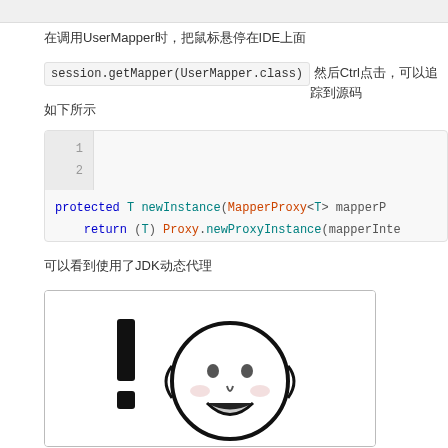在调用UserMapper时，把鼠标悬停在IDE上面
session.getMapper(UserMapper.class) 然后Ctrl点击，可以追踪到源码
如下所示
[Figure (screenshot): Code block showing two lines: 1. protected T newInstance(MapperProxy<T> mapperP... 2. return (T) Proxy.newProxyInstance(mapperInte...]
可以看到使用了JDK动态代理
[Figure (illustration): Meme image with exclamation mark and cartoon face (surprised/shocked expression)]